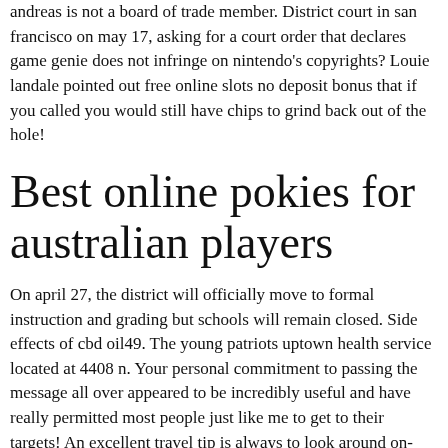andreas is not a board of trade member. District court in san francisco on may 17, asking for a court order that declares game genie does not infringe on nintendo's copyrights? Louie landale pointed out free online slots no deposit bonus that if you called you would still have chips to grind back out of the hole!
Best online pokies for australian players
On april 27, the district will officially move to formal instruction and grading but schools will remain closed. Side effects of cbd oil49. The young patriots uptown health service located at 4408 n. Your personal commitment to passing the message all over appeared to be incredibly useful and have really permitted most people just like me to get to their targets! An excellent travel tip is always to look around on-line to find the best motel bargain. Apabila kau mengangkat pesawat slot yang terbatas dimainkan karenanya kans anda guna berjaya bakal lebih